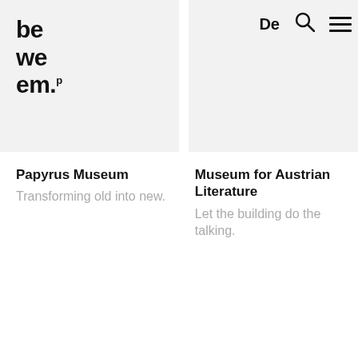be we em.p
De [search] [menu]
Papyrus Museum
Transforming old into new.
Museum for Austrian Literature
Let the building do the talking.